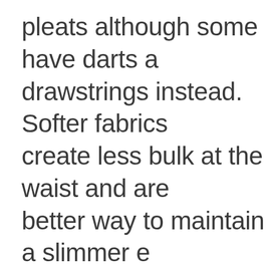pleats although some have darts and drawstrings instead. Softer fabrics create less bulk at the waist and are better way to maintain a slimmer effect. The versions with darts or very small pleats and tie belts create a "paper-bag-lite" effect and are another way to go if reducing the volume of fabric is a concern.

The long torso'd hourglass or pretty...